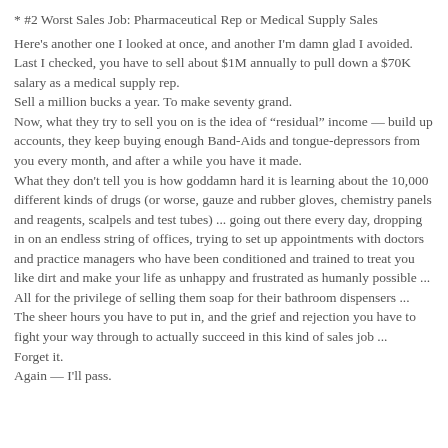* #2 Worst Sales Job: Pharmaceutical Rep or Medical Supply Sales
Here's another one I looked at once, and another I'm damn glad I avoided.
Last I checked, you have to sell about $1M annually to pull down a $70K salary as a medical supply rep.
Sell a million bucks a year. To make seventy grand.
Now, what they try to sell you on is the idea of "residual" income — build up accounts, they keep buying enough Band-Aids and tongue-depressors from you every month, and after a while you have it made.
What they don't tell you is how goddamn hard it is learning about the 10,000 different kinds of drugs (or worse, gauze and rubber gloves, chemistry panels and reagents, scalpels and test tubes) ... going out there every day, dropping in on an endless string of offices, trying to set up appointments with doctors and practice managers who have been conditioned and trained to treat you like dirt and make your life as unhappy and frustrated as humanly possible ... All for the privilege of selling them soap for their bathroom dispensers ...
The sheer hours you have to put in, and the grief and rejection you have to fight your way through to actually succeed in this kind of sales job ...
Forget it.
Again — I'll pass.